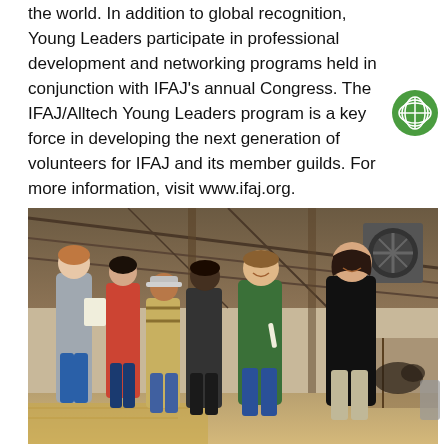the world. In addition to global recognition, Young Leaders participate in professional development and networking programs held in conjunction with IFAJ's annual Congress. The IFAJ/Alltech Young Leaders program is a key force in developing the next generation of volunteers for IFAJ and its member guilds. For more information, visit www.ifaj.org.
[Figure (photo): Group of six young professionals standing and conversing inside a barn or agricultural facility. A woman in a black shirt on the right appears to be presenting or explaining something, while others including a man in a green shirt and jeans, two people in casual wear, and a woman in a grey blazer with a clipboard listen and interact.]